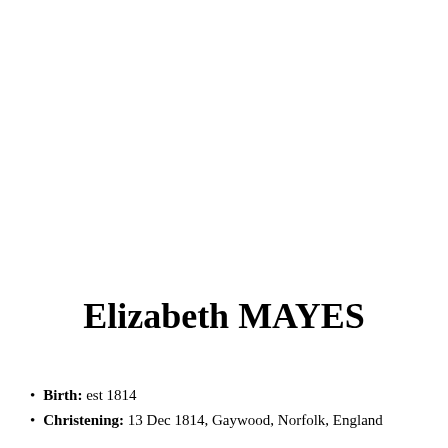Elizabeth MAYES
Birth: est 1814
Christening: 13 Dec 1814, Gaywood, Norfolk, England